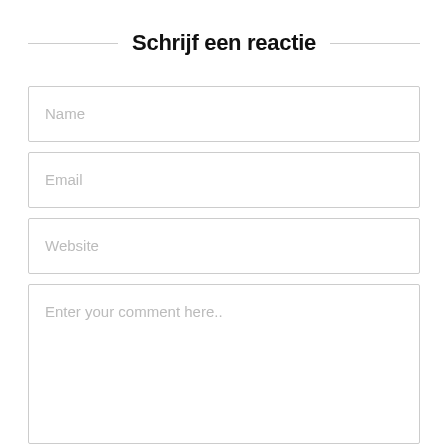Schrijf een reactie
Name
Email
Website
Enter your comment here..